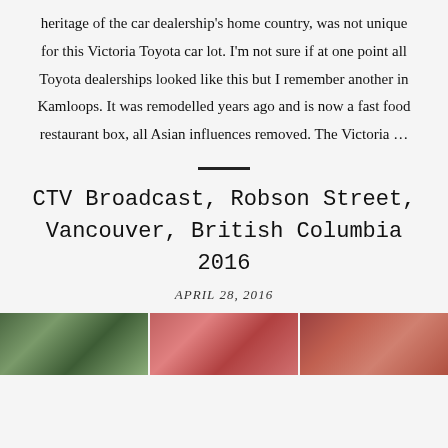heritage of the car dealership's home country, was not unique for this Victoria Toyota car lot. I'm not sure if at one point all Toyota dealerships looked like this but I remember another in Kamloops. It was remodelled years ago and is now a fast food restaurant box, all Asian influences removed. The Victoria …
CTV Broadcast, Robson Street, Vancouver, British Columbia 2016
APRIL 28, 2016
[Figure (photo): Strip of three photographs at the bottom of the page showing outdoor urban scenes]